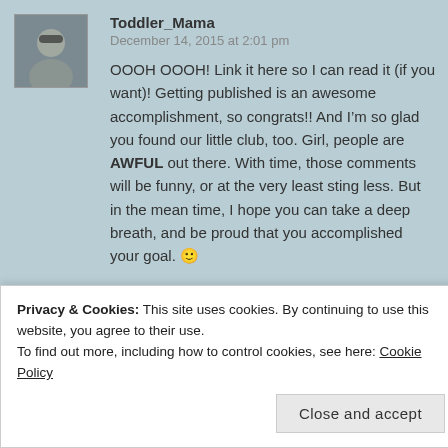[Figure (photo): Avatar photo of user Toddler_Mama, a woman with sunglasses, small square thumbnail]
Toddler_Mama
December 14, 2015 at 2:01 pm
OOOH OOOH! Link it here so I can read it (if you want)! Getting published is an awesome accomplishment, so congrats!! And I'm so glad you found our little club, too. Girl, people are AWFUL out there. With time, those comments will be funny, or at the very least sting less. But in the mean time, I hope you can take a deep breath, and be proud that you accomplished your goal. 🙂
★ Like
Privacy & Cookies: This site uses cookies. By continuing to use this website, you agree to their use.
To find out more, including how to control cookies, see here: Cookie Policy
Close and accept